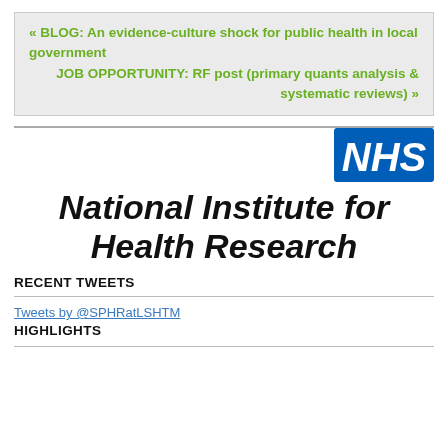« BLOG: An evidence-culture shock for public health in local government
    JOB OPPORTUNITY: RF post (primary quants analysis & systematic reviews) »
[Figure (logo): NHS logo — blue rectangle with white italic bold 'NHS' text, followed by 'National Institute for Health Research' in bold italic black text]
RECENT TWEETS
Tweets by @SPHRatLSHTM
HIGHLIGHTS